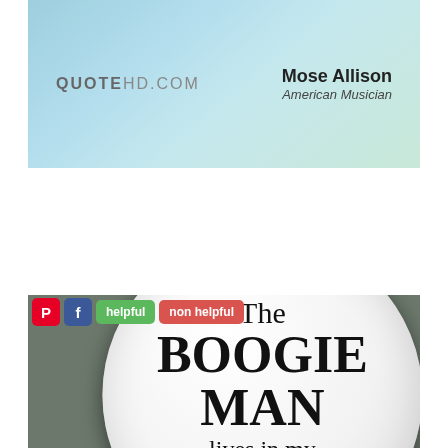[Figure (screenshot): QuoteHD.com header banner with teal-green gradient background. Left side shows 'QUOTEHD.COM' logo text. Right side shows 'Mose Allison' in bold with 'American Musician' subtitle below.]
[Figure (photo): Photo of a round white button/badge on a dark grey background. The badge reads: 'The BOOGIE MAN lives in my closet' in handwritten-style black lettering. Above the photo are social sharing icons: Pinterest (red P), Facebook (blue f), a green 'helpful' button, and a red 'non helpful' button.]